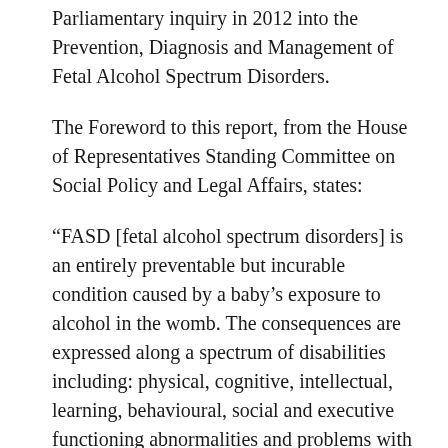Parliamentary inquiry in 2012 into the Prevention, Diagnosis and Management of Fetal Alcohol Spectrum Disorders.
The Foreword to this report, from the House of Representatives Standing Committee on Social Policy and Legal Affairs, states:
“FASD [fetal alcohol spectrum disorders] is an entirely preventable but incurable condition caused by a baby’s exposure to alcohol in the womb. The consequences are expressed along a spectrum of disabilities including: physical, cognitive, intellectual, learning, behavioural, social and executive functioning abnormalities and problems with communication, motor skills, attention and memory.”